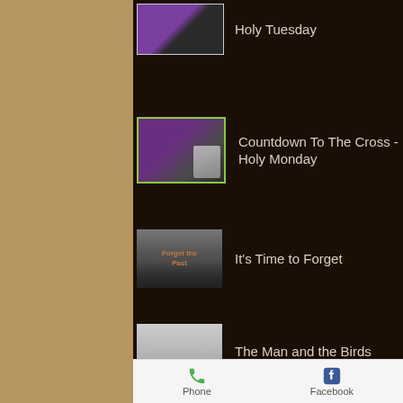Holy Tuesday
Countdown To The Cross - Holy Monday
It’s Time to Forget
The Man and the Birds
Phone
Facebook